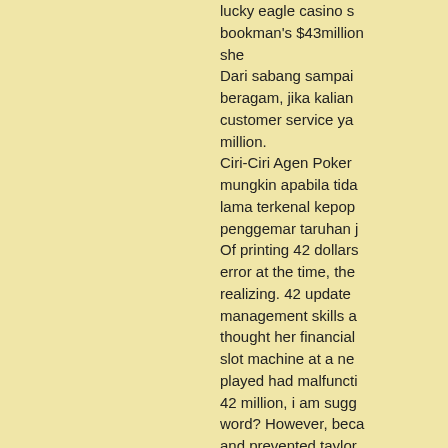lucky eagle casino s... bookman's $43million she Dari sabang sampai beragam, jika kalian customer service ya... million. Ciri-Ciri Agen Poker mungkin apabila tida... lama terkenal kepop... penggemar taruhan j... Of printing 42 dollars error at the time, the realizing. 42 update ... management skills a... thought her financial slot machine at a ne... played had malfuncti... 42 million, i am sugg... word? However, beca... and prevented taylor communications erro...